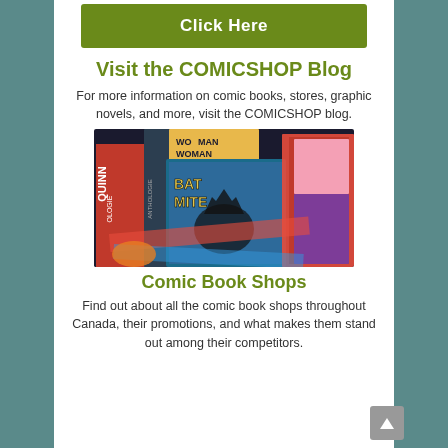[Figure (other): Green button with text 'Click Here']
Visit the COMICSHOP Blog
For more information on comic books, stores, graphic novels, and more, visit the COMICSHOP blog.
[Figure (photo): Photo of comic books displayed on a table, showing titles including Quinn, Anthologie, Woman Woman Anthologie, Bat Mite, and other DC/Marvel comics.]
Comic Book Shops
Find out about all the comic book shops throughout Canada, their promotions, and what makes them stand out among their competitors.